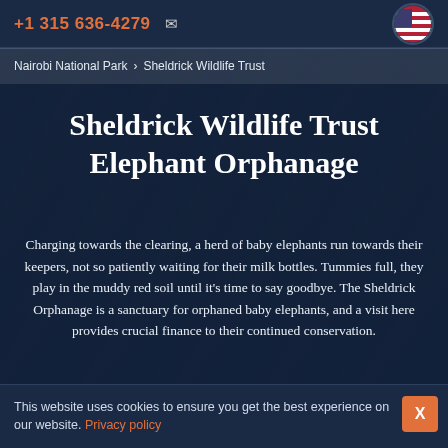+1 315 636-4279  [email icon]
Nairobi National Park > Sheldrick Wildlife Trust
Sheldrick Wildlife Trust Elephant Orphanage
Charging towards the clearing, a herd of baby elephants run towards their keepers, not so patiently waiting for their milk bottles. Tummies full, they play in the muddy red soil until it's time to say goodbye. The Sheldrick Orphanage is a sanctuary for orphaned baby elephants, and a visit here provides crucial finance to their continued conservation.
This website uses cookies to ensure you get the best experience on our website. Privacy policy